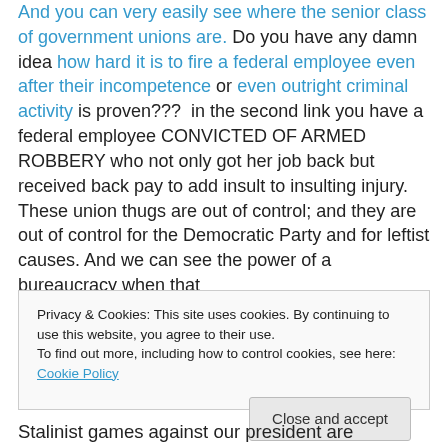And you can very easily see where the senior class of government unions are. Do you have any damn idea how hard it is to fire a federal employee even after their incompetence or even outright criminal activity is proven???  in the second link you have a federal employee CONVICTED OF ARMED ROBBERY who not only got her job back but received back pay to add insult to insulting injury. These union thugs are out of control; and they are out of control for the Democratic Party and for leftist causes. And we can see the power of a bureaucracy when that
Privacy & Cookies: This site uses cookies. By continuing to use this website, you agree to their use.
To find out more, including how to control cookies, see here: Cookie Policy
Close and accept
Stalinist games against our president are dedicated